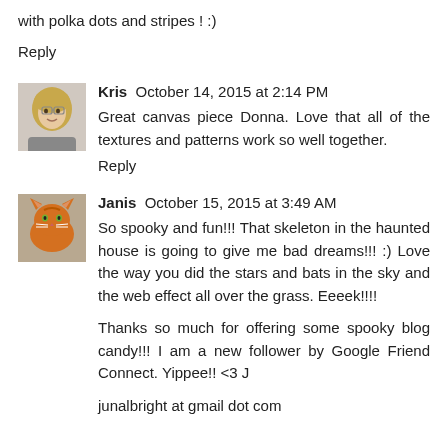with polka dots and stripes ! :)
Reply
[Figure (photo): Avatar photo of Kris, a woman with blonde hair]
Kris  October 14, 2015 at 2:14 PM
Great canvas piece Donna. Love that all of the textures and patterns work so well together.
Reply
[Figure (photo): Avatar photo of Janis, an orange cat]
Janis  October 15, 2015 at 3:49 AM
So spooky and fun!!! That skeleton in the haunted house is going to give me bad dreams!!! :) Love the way you did the stars and bats in the sky and the web effect all over the grass. Eeeek!!!!
Thanks so much for offering some spooky blog candy!!! I am a new follower by Google Friend Connect. Yippee!! <3 J
junalbright at gmail dot com